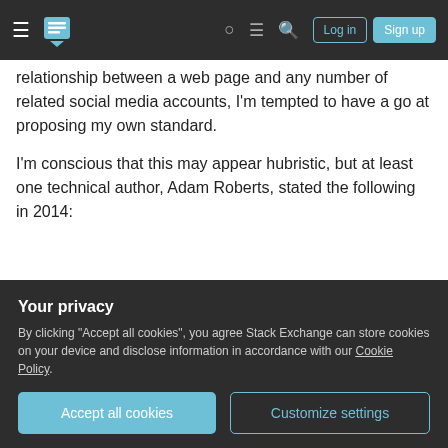Stack Exchange navigation bar with hamburger menu, logo, icons, Log in and Sign up buttons
relationship between a web page and any number of related social media accounts, I'm tempted to have a go at proposing my own standard.
I'm conscious that this may appear hubristic, but at least one technical author, Adam Roberts, stated the following in 2014:
You could define many custom relationships between pages with the link element [...] you're not limited [...] you can define your own ... attribute value
Your privacy
By clicking "Accept all cookies", you agree Stack Exchange can store cookies on your device and disclose information in accordance with our Cookie Policy.
Accept all cookies   Customize settings